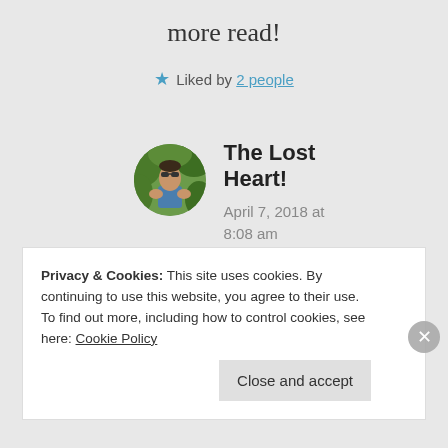more read!
★ Liked by 2 people
[Figure (photo): Circular avatar photo of a person wearing sunglasses and a blue tank top, outdoors with green foliage background]
The Lost Heart!
April 7, 2018 at 8:08 am
Privacy & Cookies: This site uses cookies. By continuing to use this website, you agree to their use.
To find out more, including how to control cookies, see here: Cookie Policy
Close and accept